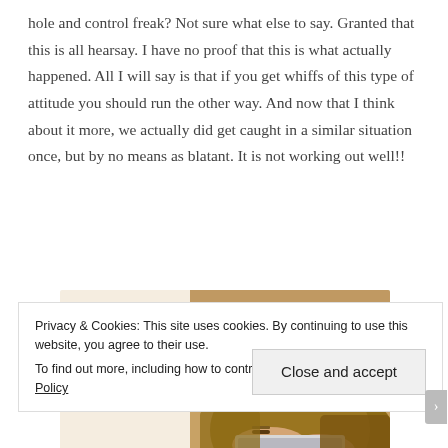hole and control freak?  Not sure what else to say.  Granted that this is all hearsay.  I have no proof that this is what actually happened.  All I will say is that if you get whiffs of this type of attitude you should run the other way.   And now that I think about it more, we actually did get caught in a similar situation once, but by no means as blatant.  It is not working out well!!
[Figure (photo): A banner image with a white card saying 'Let's get started' and a photo of a person's hands using a tablet, wearing a mustard/brown sweater with bracelets.]
Privacy & Cookies: This site uses cookies. By continuing to use this website, you agree to their use.
To find out more, including how to control cookies, see here: Cookie Policy
Close and accept